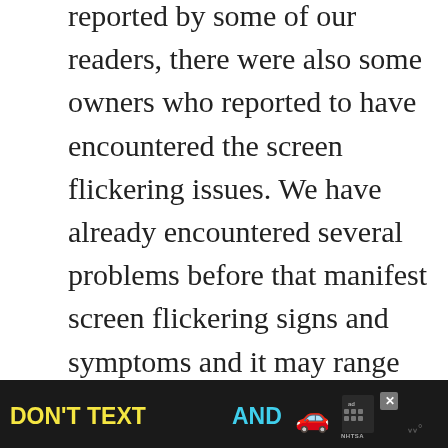reported by some of our readers, there were also some owners who reported to have encountered the screen flickering issues. We have already encountered several problems before that manifest screen flickering signs and symptoms and it may range from a simple app-related issue to a more complicated firmware and hardware problems. You need to do something to determine why it's happening in the first place and how
[Figure (other): Advertisement banner at bottom: dark background with 'DON'T TEXT AND' text in yellow and cyan, a red car emoji, an 'ad' badge with NHTSA logo, a close button, and a 'w' logo on the right.]